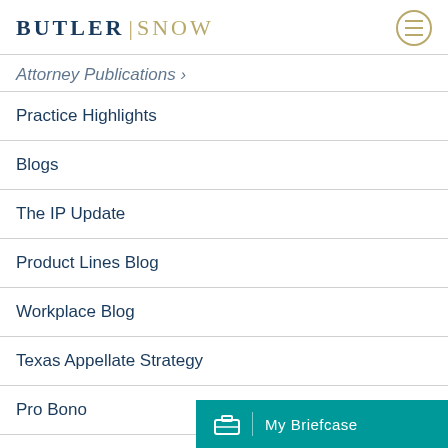[Figure (logo): Butler Snow law firm logo with menu icon]
Attorney Publications
Practice Highlights
Blogs
The IP Update
Product Lines Blog
Workplace Blog
Texas Appellate Strategy
Pro Bono
Inclusivity
COVID-19
My Briefcase